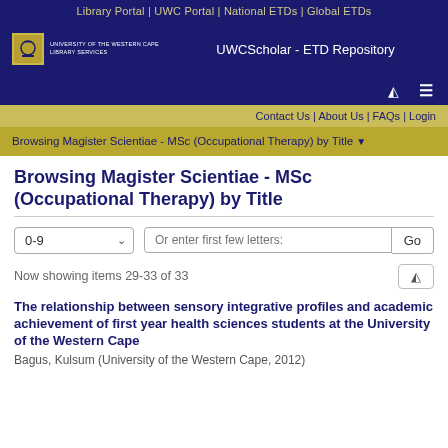Library Portal | UWC Portal | National ETDs | Global ETDs
UWCScholar - ETD Repository
Contact Us | About Us | FAQs | Login
Browsing Magister Scientiae - MSc (Occupational Therapy) by Title ▼
Browsing Magister Scientiae - MSc (Occupational Therapy) by Title
Now showing items 29-33 of 33
The relationship between sensory integrative profiles and academic achievement of first year health sciences students at the University of the Western Cape
Bagus, Kulsum (University of the Western Cape, 2012)